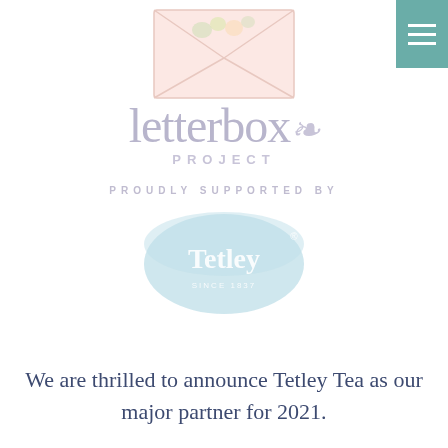[Figure (logo): Letterbox Project logo with envelope illustration, stylized 'letterbox' script text, 'PROJECT' subtitle, 'PROUDLY SUPPORTED BY' text, and Tetley tea logo]
We are thrilled to announce Tetley Tea as our major partner for 2021.